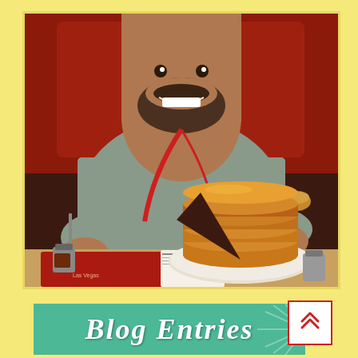[Figure (photo): A smiling man with a beard and mustache, wearing a gray t-shirt and a red lanyard, sitting in a restaurant booth. He is holding a fork with a bite of pancakes. On the table is a large stack of pancakes on a plate with a slice cut out, along with syrup containers and a menu.]
[Figure (infographic): A green banner with white italic/script text reading 'Blog Entries' partially visible. A starburst/sunburst decorative pattern is visible on the right side. A white button with a red border and double chevron/arrow pointing up is overlaid in the top-right.]